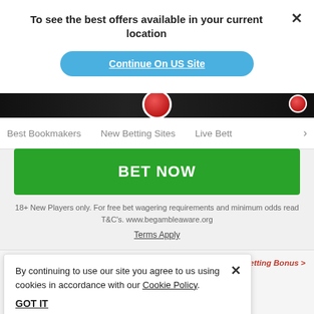To see the best offers available in your current location
Continue On US Site
[Figure (screenshot): Dark banner strip with red poker chip icons]
Best Bookmakers   New Betting Sites   Live Betti >
BET NOW
18+ New Players only. For free bet wagering requirements and minimum odds read T&C's. www.begambleaware.org
Terms Apply
8
Luckstar Sports Betting Bonus >
onus Bet €10
Established 2022
By continuing to use our site you agree to us using cookies in accordance with our Cookie Policy.
GOT IT